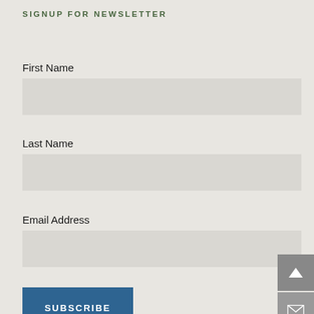SIGNUP FOR NEWSLETTER
First Name
Last Name
Email Address
SUBSCRIBE